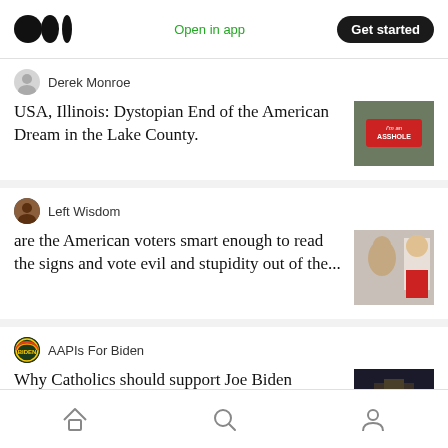Open in app | Get started
Derek Monroe
USA, Illinois: Dystopian End of the American Dream in the Lake County.
[Figure (photo): Thumbnail image with text sticker reading I'm an ASSHOLE]
Left Wisdom
are the American voters smart enough to read the signs and vote evil and stupidity out of the...
[Figure (photo): Thumbnail image of a woman and Donald Trump]
AAPIs For Biden
Why Catholics should support Joe Biden
[Figure (photo): Thumbnail image of a dark church interior with rows of pews]
Home | Search | Profile